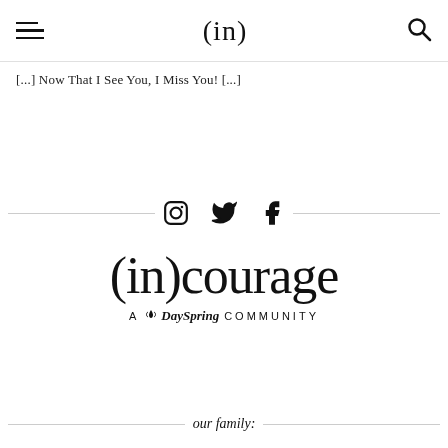(in)
[...] Now That I See You, I Miss You! [...]
[Figure (logo): Social media icons: Instagram, Twitter, Facebook with horizontal divider lines on either side]
[Figure (logo): (in)courage – A DaySpring COMMUNITY logo]
our family: